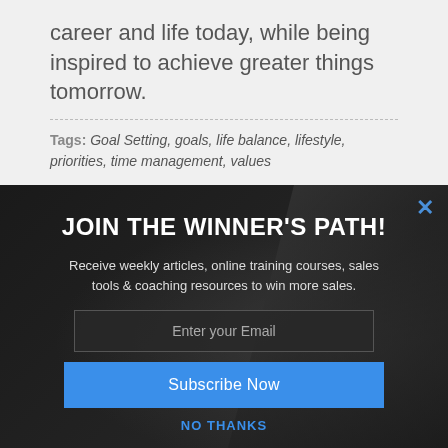career and life today, while being inspired to achieve greater things tomorrow.
Tags: Goal Setting, goals, life balance, lifestyle, priorities, time management, values
[Figure (screenshot): Modal popup overlay with dark background showing a newsletter signup form titled 'JOIN THE WINNER'S PATH!' with subtitle 'Receive weekly articles, online training courses, sales tools & coaching resources to win more sales.' and an email input field, 'Subscribe Now' button, and 'NO THANKS' link.]